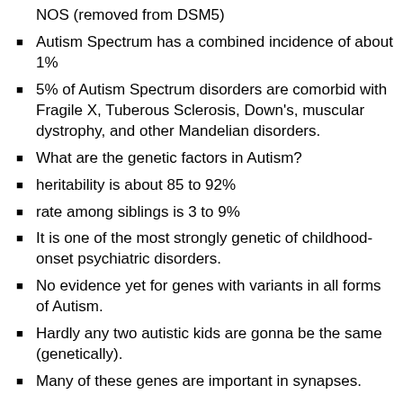NOS (removed from DSM5)
Autism Spectrum has a combined incidence of about 1%
5% of Autism Spectrum disorders are comorbid with Fragile X, Tuberous Sclerosis, Down's, muscular dystrophy, and other Mandelian disorders.
What are the genetic factors in Autism?
heritability is about 85 to 92%
rate among siblings is 3 to 9%
It is one of the most strongly genetic of childhood-onset psychiatric disorders.
No evidence yet for genes with variants in all forms of Autism.
Hardly any two autistic kids are gonna be the same (genetically).
Many of these genes are important in synapses.